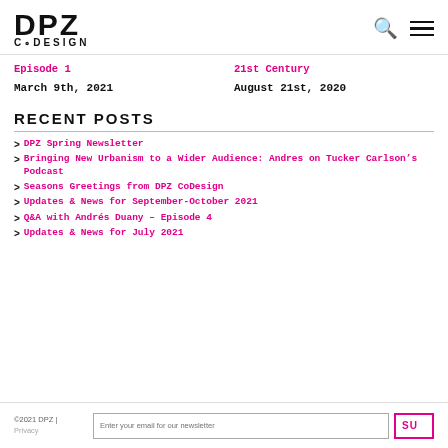DPZ CoDesign
Episode 1
March 9th, 2021
21st Century
August 21st, 2020
RECENT POSTS
DPZ Spring Newsletter
Bringing New Urbanism to a Wider Audience: Andres on Tucker Carlson's Podcast
Seasons Greetings from DPZ CoDesign
Updates & News for September-October 2021
Q&A with Andrés Duany – Episode 4
Updates & News for July 2021
©2021 DPZ | Privacy
Enter your email for our newsletter
SU